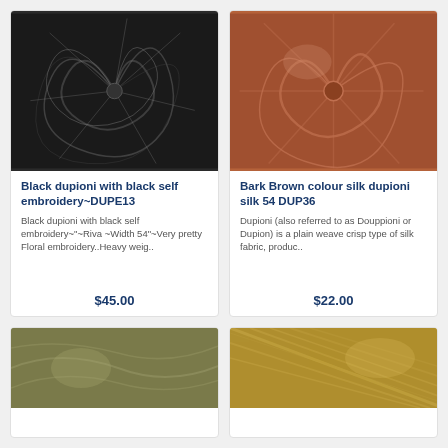[Figure (photo): Black dupioni fabric with self embroidery, dark swirled textile close-up]
Black dupioni with black self embroidery~DUPE13
Black dupioni with black self embroidery~"~Riva ~Width 54"~Very pretty Floral embroidery..Heavy weig..
$45.00
[Figure (photo): Bark Brown colour silk dupioni silk, copper/terracotta coloured fabric close-up]
Bark Brown colour silk dupioni silk 54 DUP36
Dupioni (also referred to as Douppioni or Dupion) is a plain weave crisp type of silk fabric, produc..
$22.00
[Figure (photo): Olive/khaki coloured silk dupioni fabric close-up]
[Figure (photo): Gold/yellow coloured silk dupioni fabric close-up]